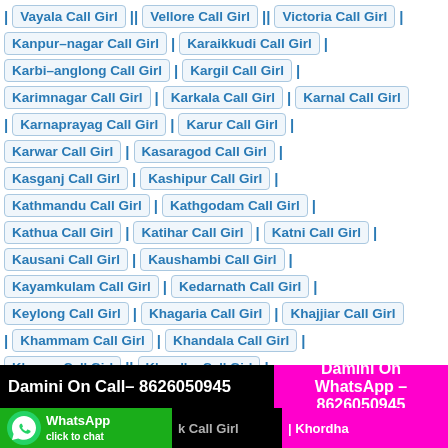Vayala Call Girl | Vellore Call Girl | Victoria Call Girl
Kanpur-nagar Call Girl | Karaikkudi Call Girl |
Karbi-anglong Call Girl | Kargil Call Girl |
Karimnagar Call Girl | Karkala Call Girl | Karnal Call Girl
| Karnaprayag Call Girl | Karur Call Girl |
Karwar Call Girl | Kasaragod Call Girl |
Kasganj Call Girl | Kashipur Call Girl |
Kathmandu Call Girl | Kathgodam Call Girl |
Kathua Call Girl | Katihar Call Girl | Katni Call Girl |
Kausani Call Girl | Kaushambi Call Girl |
Kayamkulam Call Girl | Kedarnath Call Girl |
Keylong Call Girl | Khagaria Call Girl | Khajjiar Call Girl
| Khammam Call Girl | Khandala Call Girl |
Khanna Call Girl | Khordha Call Girl
Damini On Call– 8626050945
Damini On WhatsApp – 8626050945